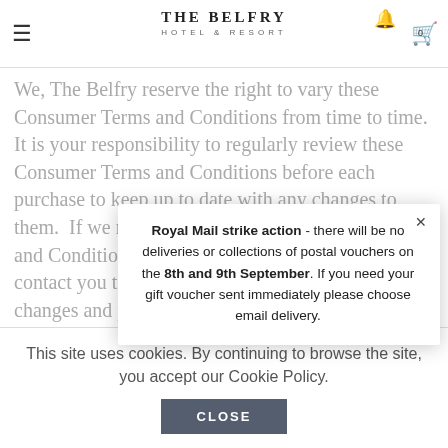THE BELFRY HOTEL & RESORT
We, The Belfry reserve the right to vary these Consumer Terms and Conditions from time to time. It is your responsibility to regularly review these Consumer Terms and Conditions before each purchase to keep up to date with any changes to them. If we need to revise these Consumer Terms and Conditions as they apply to your order, we will contact you to give you specific information about the changes and you can then choose to cancel the order if you are not happy with the changes. If you opt to cancel and you have already received your Gift Voucher, you must return the Gift Voucher or all of them if more than one within your notice of cancellation, SK Chase will arrange a refund.
Royal Mail strike action - there will be no deliveries or collections of postal vouchers on the 8th and 9th September. If you need your gift voucher sent immediately please choose email delivery.
This site uses cookies. By continuing to browse the site, you accept our Cookie Policy.
CLOSE